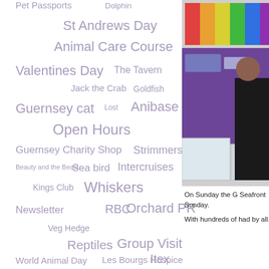[Figure (infographic): Tag cloud with terms related to animal/charity topics in various sizes and purple/grey colors]
[Figure (photo): Photo showing a purple-clothed table with colorful items, a person in black clothing, and storage containers in an indoor setting (Seafront Sunday event)]
On Sunday the G Seafront Sunday. With hundreds of had by all.
Thank you for looking after my dog